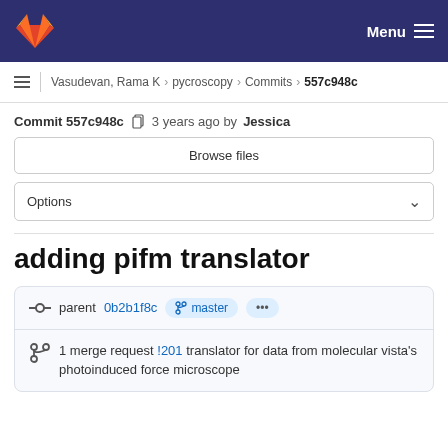GitLab navigation bar with logo and Menu
Vasudevan, Rama K > pycroscopy > Commits > 557c948c
Commit 557c948c  3 years ago by Jessica
Browse files
Options
adding pifm translator
parent 0b2b1f8c  master  ...  1 merge request !201 translator for data from molecular vista's photoinduced force microscope